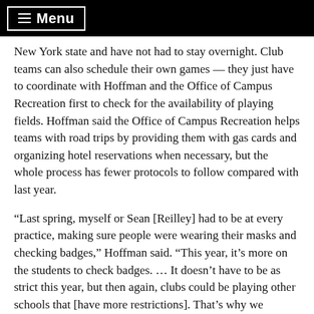≡ Menu
New York state and have not had to stay overnight. Club teams can also schedule their own games — they just have to coordinate with Hoffman and the Office of Campus Recreation first to check for the availability of playing fields. Hoffman said the Office of Campus Recreation helps teams with road trips by providing them with gas cards and organizing hotel reservations when necessary, but the whole process has fewer protocols to follow compared with last year.
“Last spring, myself or Sean [Reilley] had to be at every practice, making sure people were wearing their masks and checking badges,” Hoffman said. “This year, it’s more on the students to check badges. … It doesn’t have to be as strict this year, but then again, clubs could be playing other schools that [have more restrictions]. That’s why we communicate with our counterparts at those schools that they’re playing against.”
With club sports back to having a regular fall season, participation